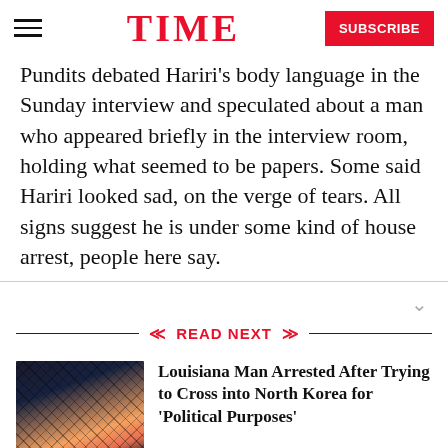TIME  SUBSCRIBE
Pundits debated Hariri's body language in the Sunday interview and speculated about a man who appeared briefly in the interview room, holding what seemed to be papers. Some said Hariri looked sad, on the verge of tears. All signs suggest he is under some kind of house arrest, people here say.
READ NEXT
Louisiana Man Arrested After Trying to Cross into North Korea for 'Political Purposes'